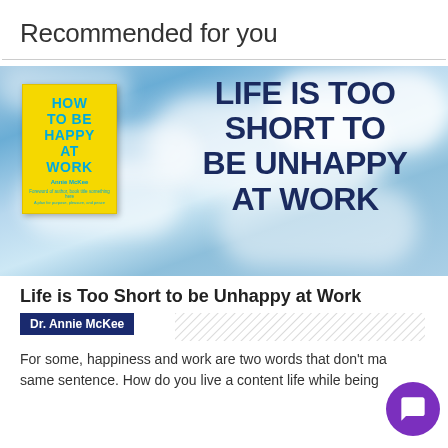Recommended for you
[Figure (illustration): Book cover for 'How to Be Happy at Work' by Annie McKee against a blue sky with clouds background. Large text overlay reads 'LIFE IS TOO SHORT TO BE UNHAPPY AT WORK'.]
Life is Too Short to be Unhappy at Work
Dr. Annie McKee
For some, happiness and work are two words that don't make the same sentence. How do you live a content life while being